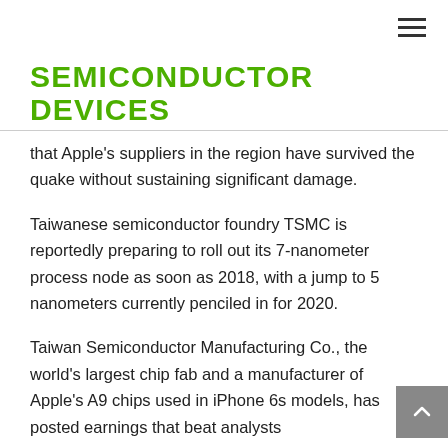SEMICONDUCTOR DEVICES
that Apple's suppliers in the region have survived the quake without sustaining significant damage.
Taiwanese semiconductor foundry TSMC is reportedly preparing to roll out its 7-nanometer process node as soon as 2018, with a jump to 5 nanometers currently penciled in for 2020.
Taiwan Semiconductor Manufacturing Co., the world's largest chip fab and a manufacturer of Apple's A9 chips used in iPhone 6s models, has posted earnings that beat analysts